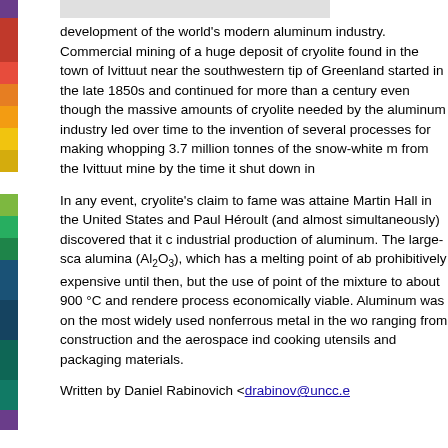development of the world's modern aluminum industry. Commercial mining of a huge deposit of cryolite found in the town of Ivittuut near the southwestern tip of Greenland started in the late 1850s and continued for more than a century even though the massive amounts of cryolite needed by the aluminum industry led over time to the invention of several processes for making whopping 3.7 million tonnes of the snow-white m from the Ivittuut mine by the time it shut down in
In any event, cryolite's claim to fame was attained Martin Hall in the United States and Paul Héroult (and almost simultaneously) discovered that it c industrial production of aluminum. The large-sca alumina (Al2O3), which has a melting point of ab prohibitively expensive until then, but the use of point of the mixture to about 900 °C and rendere process economically viable. Aluminum was on the most widely used nonferrous metal in the wo ranging from construction and the aerospace ind cooking utensils and packaging materials.
Written by Daniel Rabinovich <drabinov@uncc.e